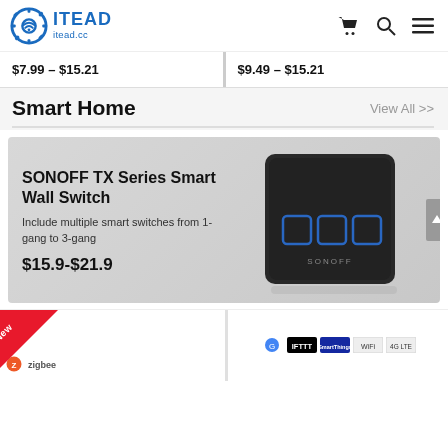[Figure (logo): ITEAD itead.cc logo with gear/wifi icon in blue]
$7.99 – $15.21
$9.49 – $15.21
Smart Home
View All >>
[Figure (photo): SONOFF TX Series Smart Wall Switch banner. Black 3-gang smart wall switch on grey background. Text: SONOFF TX Series Smart Wall Switch. Include multiple smart switches from 1-gang to 3-gang. $15.9-$21.9]
[Figure (photo): Product card with New badge and Zigbee logo]
[Figure (photo): Product card with Google Assistant, IFTTT, SmartThings, WiFi, 4G LTE compatibility icons]